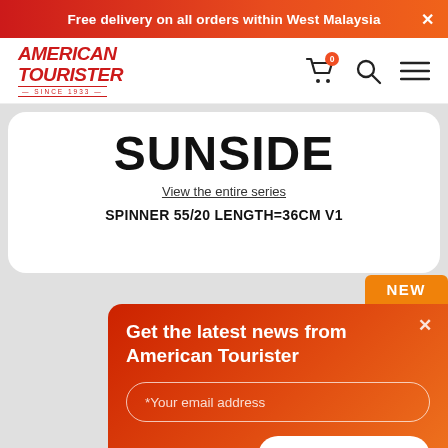Free delivery on all orders within West Malaysia
[Figure (logo): American Tourister logo with italic red bold text and 'SINCE 1933' tagline]
SUNSIDE
View the entire series
SPINNER 55/20 LENGTH=36CM V1
Get the latest news from American Tourister
*Your email address
Submit